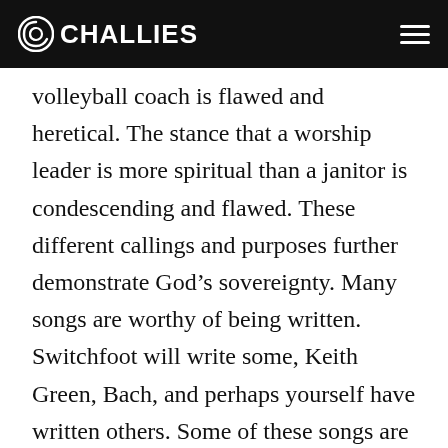CHALLIES
volleyball coach is flawed and heretical. The stance that a worship leader is more spiritual than a janitor is condescending and flawed. These different callings and purposes further demonstrate God's sovereignty. Many songs are worthy of being written. Switchfoot will write some, Keith Green, Bach, and perhaps yourself have written others. Some of these songs are about redemption, others about the sunrise, others about nothing in particular: written for the simple joy of